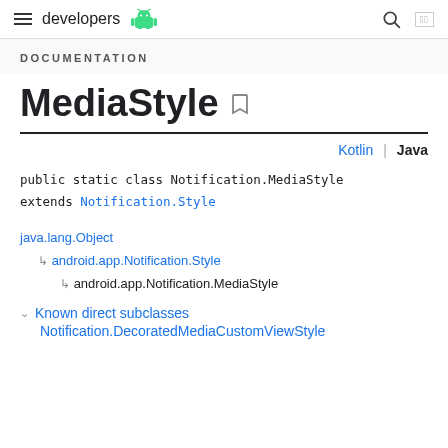developers
DOCUMENTATION
MediaStyle
Kotlin | Java
java.lang.Object
↳ android.app.Notification.Style
  ↳ android.app.Notification.MediaStyle
Known direct subclasses
Notification.DecoratedMediaCustomViewStyle